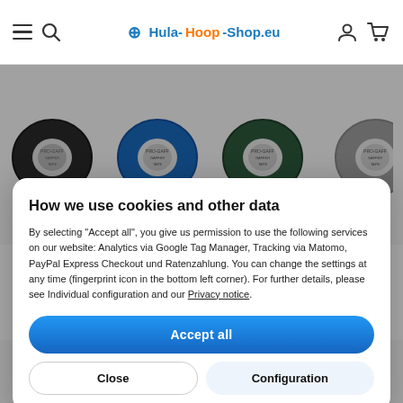Hula-Hoop-Shop.eu navigation header with hamburger menu, search icon, logo, user icon, and cart icon
[Figure (photo): Four rolls of gaffer tape in black, blue, dark green, and grey arranged in a row across the top of the page]
How we use cookies and other data
By selecting "Accept all", you give us permission to use the following services on our website: Analytics via Google Tag Manager, Tracking via Matomo, PayPal Express Checkout und Ratenzahlung. You can change the settings at any time (fingerprint icon in the bottom left corner). For further details, please see Individual configuration and our Privacy notice.
Accept all
Close
Configuration
[Figure (photo): Four rolls of gaffer tape in yellow-green, purple, dark red/maroon, and red arranged along the bottom of the page]